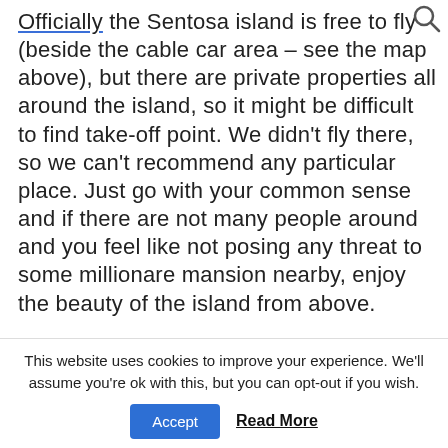Officially the Sentosa island is free to fly (beside the cable car area – see the map above), but there are private properties all around the island, so it might be difficult to find take-off point. We didn't fly there, so we can't recommend any particular place. Just go with your common sense and if there are not many people around and you feel like not posing any threat to some millionare mansion nearby, enjoy the beauty of the island from above.
[Figure (photo): Wide panoramic photograph showing a partly cloudy sky with wispy clouds and green trees visible in the bottom right corner.]
This website uses cookies to improve your experience. We'll assume you're ok with this, but you can opt-out if you wish.